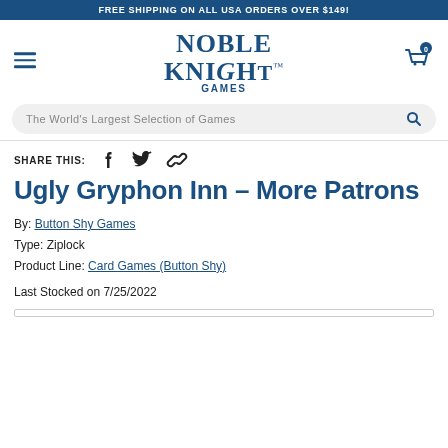FREE SHIPPING ON ALL USA ORDERS OVER $149!
[Figure (logo): Noble Knight Games logo with hamburger menu and cart icon]
The World's Largest Selection of Games
SHARE THIS:
Ugly Gryphon Inn – More Patrons
By: Button Shy Games
Type: Ziplock
Product Line: Card Games (Button Shy)
Last Stocked on 7/25/2022